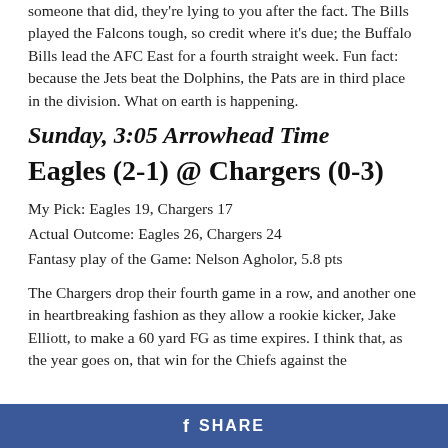someone that did, they're lying to you after the fact. The Bills played the Falcons tough, so credit where it's due; the Buffalo Bills lead the AFC East for a fourth straight week. Fun fact: because the Jets beat the Dolphins, the Pats are in third place in the division. What on earth is happening.
Sunday, 3:05 Arrowhead Time
Eagles (2-1) @ Chargers (0-3)
My Pick: Eagles 19, Chargers 17
Actual Outcome: Eagles 26, Chargers 24
Fantasy play of the Game: Nelson Agholor, 5.8 pts
The Chargers drop their fourth game in a row, and another one in heartbreaking fashion as they allow a rookie kicker, Jake Elliott, to make a 60 yard FG as time expires. I think that, as the year goes on, that win for the Chiefs against the
SHARE